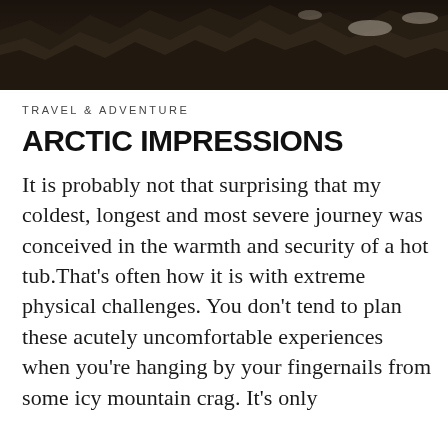[Figure (photo): Dark rocky mountain terrain with snow patches, viewed from above — moody, high-contrast nature photograph used as a header image.]
TRAVEL & ADVENTURE
ARCTIC IMPRESSIONS
It is probably not that surprising that my coldest, longest and most severe journey was conceived in the warmth and security of a hot tub.That's often how it is with extreme physical challenges. You don't tend to plan these acutely uncomfortable experiences when you're hanging by your fingernails from some icy mountain crag. It's only